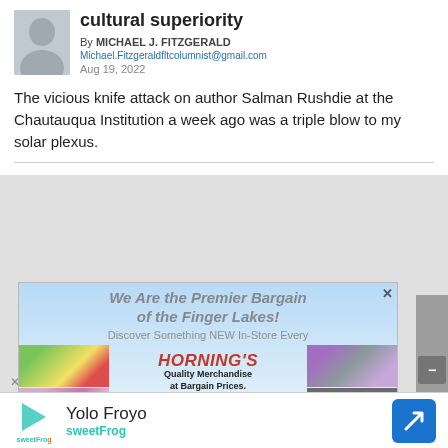cultural superiority
By MICHAEL J. FITZGERALD
Michael.Fitzgeraldfltcolumnist@gmail.com
Aug 19, 2022
The vicious knife attack on author Salman Rushdie at the Chautauqua Institution a week ago was a triple blow to my solar plexus.
[Figure (photo): Advertisement for Horning's Quality Merchandise at Bargain Prices, Surplus store, with tagline 'We Are the Premier Bargain of the Finger Lakes! Discover Something NEW In-Store Every']
[Figure (infographic): Yolo Froyo sweetFrog advertisement banner with logo, name, and navigation arrow]